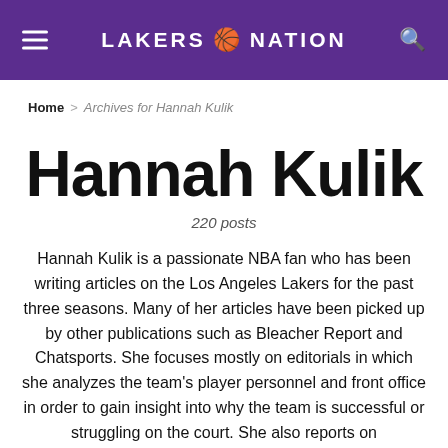LAKERS NATION
Home > Archives for Hannah Kulik
Hannah Kulik
220 posts
Hannah Kulik is a passionate NBA fan who has been writing articles on the Los Angeles Lakers for the past three seasons. Many of her articles have been picked up by other publications such as Bleacher Report and Chatsports. She focuses mostly on editorials in which she analyzes the team's player personnel and front office in order to gain insight into why the team is successful or struggling on the court. She also reports on developments